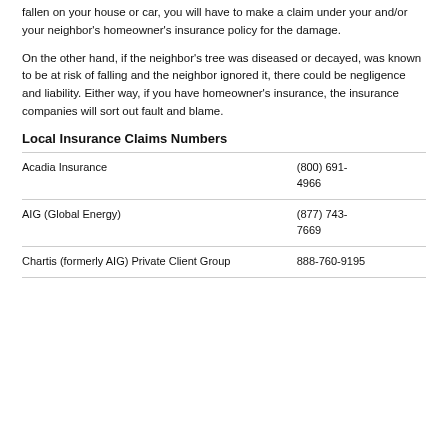fallen on your house or car, you will have to make a claim under your and/or your neighbor's homeowner's insurance policy for the damage.
On the other hand, if the neighbor's tree was diseased or decayed, was known to be at risk of falling and the neighbor ignored it, there could be negligence and liability. Either way, if you have homeowner's insurance, the insurance companies will sort out fault and blame.
Local Insurance Claims Numbers
|  |  |
| --- | --- |
| Acadia Insurance | (800) 691-4966 |
| AIG (Global Energy) | (877) 743-7669 |
| Chartis (formerly AIG) Private Client Group | 888-760-9195 |